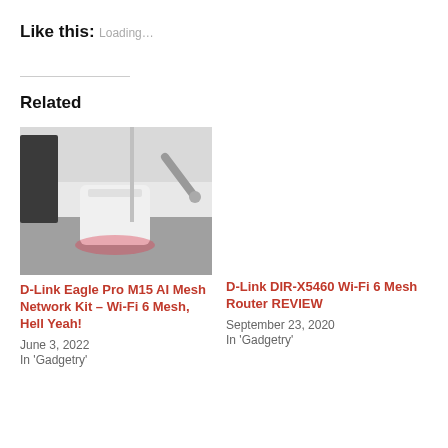Like this:
Loading…
Related
[Figure (photo): Photo of D-Link Eagle Pro M15 AI Mesh Network Kit router on a desk surface with glowing pink light underneath]
D-Link Eagle Pro M15 AI Mesh Network Kit – Wi-Fi 6 Mesh, Hell Yeah!
June 3, 2022
In 'Gadgetry'
D-Link DIR-X5460 Wi-Fi 6 Mesh Router REVIEW
September 23, 2020
In 'Gadgetry'